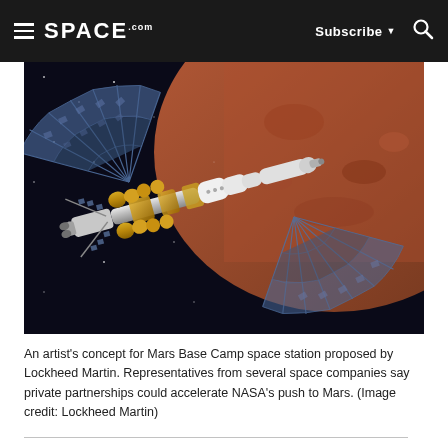SPACE.com — Subscribe — Search
[Figure (photo): Artist's concept rendering of the Mars Base Camp space station proposed by Lockheed Martin, showing a large spacecraft with solar panels and cylindrical modules orbiting near Mars with the red planet surface visible in the background.]
An artist's concept for Mars Base Camp space station proposed by Lockheed Martin. Representatives from several space companies say private partnerships could accelerate NASA's push to Mars. (Image credit: Lockheed Martin)